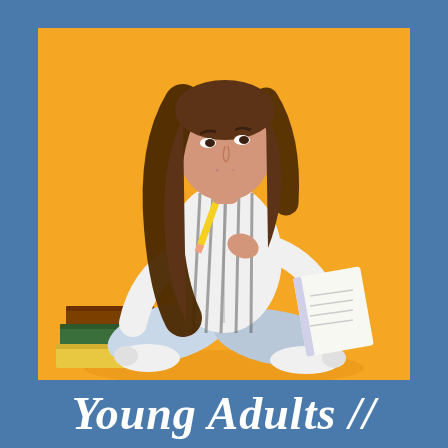[Figure (photo): A young woman with long brown hair sitting cross-legged on the floor against a bright orange/yellow background. She is wearing a striped button-up shirt and ripped jeans with white sneakers. She holds a pencil up to her chin thoughtfully in one hand and a notebook in the other. A small stack of books (brown, green, yellow) sits to her left.]
Young Adults //